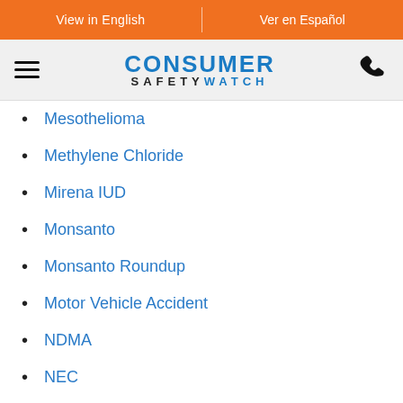View in English | Ver en Español
[Figure (logo): Consumer Safety Watch logo with hamburger menu and phone icon]
Mesothelioma
Methylene Chloride
Mirena IUD
Monsanto
Monsanto Roundup
Motor Vehicle Accident
NDMA
NEC
Necrotizing Enterocolitis
News
Nexium
Non-Hodgkin's Lymphoma
Nursing Home Abuse